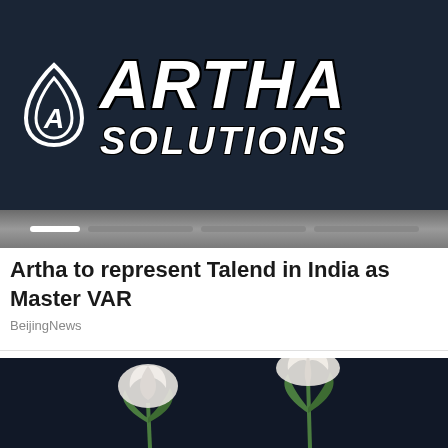[Figure (logo): Artha Solutions company logo: white teardrop/leaf icon with letter A, white bold italic text ARTHA on top line and SOLUTIONS on bottom line, on dark navy background with carousel slider bar below]
Artha to represent Talend in India as Master VAR
BeijingNews
[Figure (photo): Two white tulips with green leaves on a dark navy/black background]